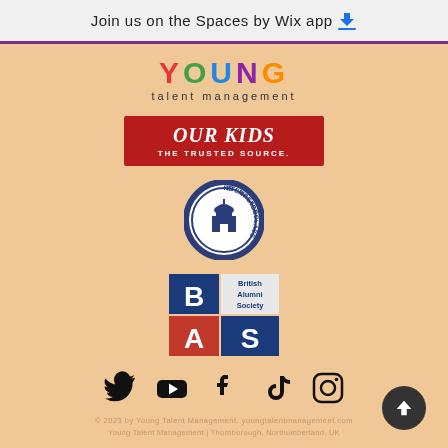Join us on the Spaces by Wix app
[Figure (logo): Young Talent Management logo with colorful stylized letters and tagline 'talent management']
[Figure (logo): Our Kids - The Trusted Source red badge logo]
[Figure (logo): Oxford Masterclass circular seal/badge logo with building icon]
[Figure (logo): British Alumni Society (BAS) logo with blue and red squares]
[Figure (infographic): Social media icons row: Twitter, YouTube, Facebook, TikTok, Instagram]
© 2023 by Young Talent Management. youngtalentmanagement.com
Young Talent Management | Thornborough, Northumberland, UK